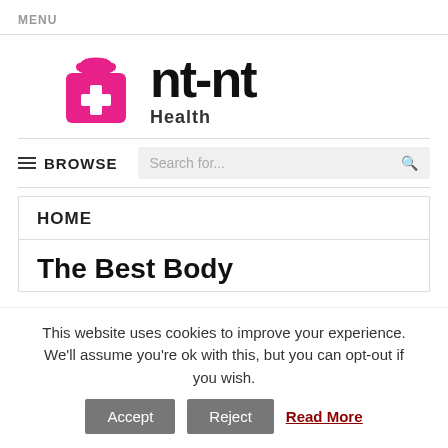MENU
[Figure (logo): nt-nt Health logo with pink medical kit icon and bold black text 'nt-nt' with subtitle 'Health']
≡ BROWSE   Search for...
HOME
The Best Body
This website uses cookies to improve your experience. We'll assume you're ok with this, but you can opt-out if you wish.  Accept  Reject  Read More